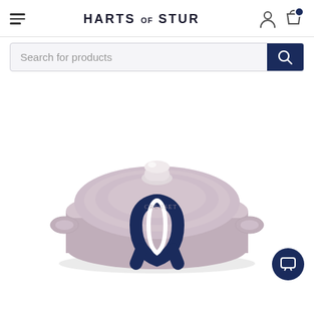HARTS OF STUR
Search for products
[Figure (photo): A Le Creuset round casserole dish / Dutch oven with lid in a muted mauve/lilac color with a stainless steel knob, featuring two side handles. The Harts of Stur horseshoe logo watermark is overlaid on the image.]